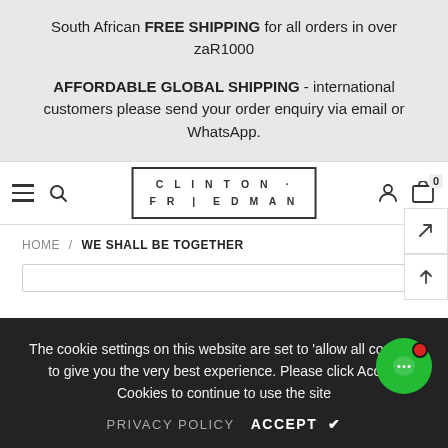South African FREE SHIPPING for all orders in over zaR1000
AFFORDABLE GLOBAL SHIPPING - international customers please send your order enquiry via email or WhatsApp.
[Figure (screenshot): Navigation bar with hamburger menu, search icon, Clinton Friedman logo in bordered box, user icon, and shopping cart icon with badge showing 0]
HOME / WE SHALL BE TOGETHER
The cookie settings on this website are set to 'allow all cookies' to give you the very best experience. Please click Accept Cookies to continue to use the site
PRIVACY POLICY   ACCEPT ✔